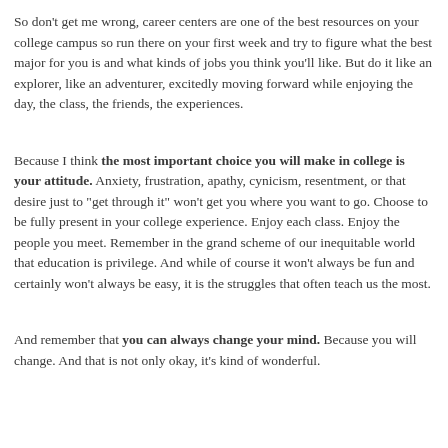So don't get me wrong, career centers are one of the best resources on your college campus so run there on your first week and try to figure what the best major for you is and what kinds of jobs you think you'll like. But do it like an explorer, like an adventurer, excitedly moving forward while enjoying the day, the class, the friends, the experiences.
Because I think the most important choice you will make in college is your attitude. Anxiety, frustration, apathy, cynicism, resentment, or that desire just to "get through it" won't get you where you want to go. Choose to be fully present in your college experience. Enjoy each class. Enjoy the people you meet. Remember in the grand scheme of our inequitable world that education is privilege. And while of course it won't always be fun and certainly won't always be easy, it is the struggles that often teach us the most.
And remember that you can always change your mind. Because you will change. And that is not only okay, it's kind of wonderful.